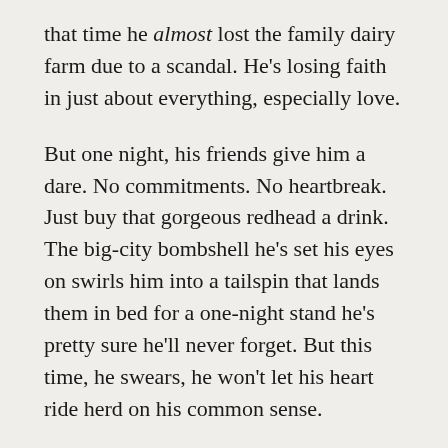that time he almost lost the family dairy farm due to a scandal. He's losing faith in just about everything, especially love.
But one night, his friends give him a dare. No commitments. No heartbreak. Just buy that gorgeous redhead a drink. The big-city bombshell he's set his eyes on swirls him into a tailspin that lands them in bed for a one-night stand he's pretty sure he'll never forget. But this time, he swears, he won't let his heart ride herd on his common sense.
Recently separated and newly unemployed, Scarlett Russell is at a crossroads. With no other plan than visiting a friend in Vermont, the last thing she expects to find is the love of her life.